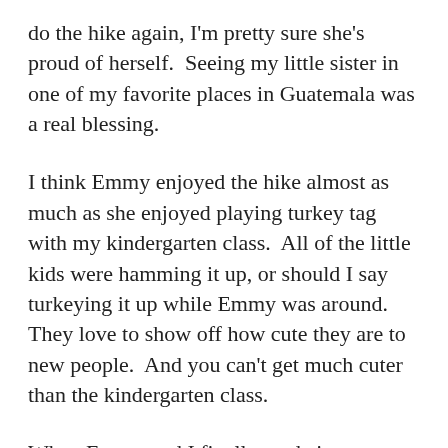do the hike again, I'm pretty sure she's proud of herself.  Seeing my little sister in one of my favorite places in Guatemala was a real blessing.
I think Emmy enjoyed the hike almost as much as she enjoyed playing turkey tag with my kindergarten class.  All of the little kids were hamming it up, or should I say turkeying it up while Emmy was around.  They love to show off how cute they are to new people.  And you can't get much cuter than the kindergarten class.
When Emmy and I finally made it to Antigua I was ready for some brother and sister bonding time.  She was ready to shop.  She also wanted to see lava so I took her up Pacaya, the evil volcano that delayed my fight home last May